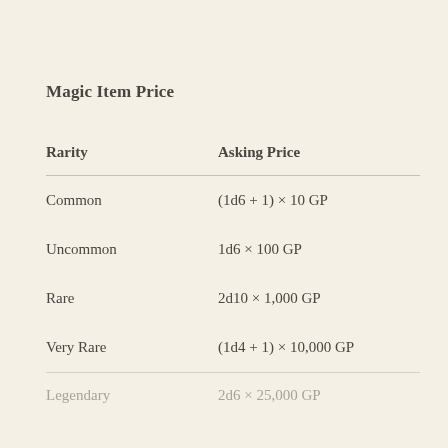Magic Item Price
| Rarity | Asking Price |
| --- | --- |
| Common | (1d6 + 1) × 10 GP |
| Uncommon | 1d6 × 100 GP |
| Rare | 2d10 × 1,000 GP |
| Very Rare | (1d4 + 1) × 10,000 GP |
| Legendary | 2d6 × 25,000 GP |